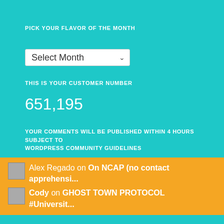PICK YOUR FLAVOR OF THE MONTH
[Figure (screenshot): Dropdown selector showing 'Select Month' with a down arrow]
THIS IS YOUR CUSTOMER NUMBER
651,195
YOUR COMMENTS WILL BE PUBLISHED WITHIN 4 HOURS SUBJECT TO WORDPRESS COMMUNITY GUIDELINES
Alex Regado on On NCAP (no contact apprehensi...
Cody on GHOST TOWN PROTOCOL #Universit...
PLACE UR ORDER HERE (SEARCH)
Search …